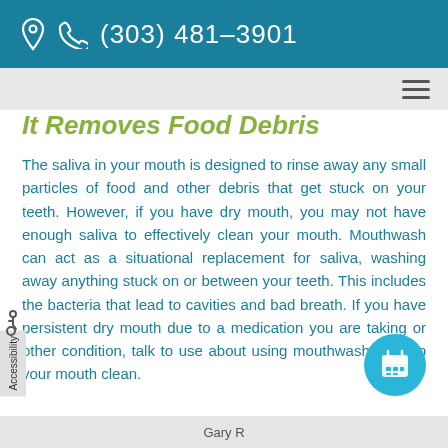(303) 481-3901
It Removes Food Debris
The saliva in your mouth is designed to rinse away any small particles of food and other debris that get stuck on your teeth. However, if you have dry mouth, you may not have enough saliva to effectively clean your mouth. Mouthwash can act as a situational replacement for saliva, washing away anything stuck on or between your teeth. This includes the bacteria that lead to cavities and bad breath. If you have persistent dry mouth due to a medication you are taking or other condition, talk to use about using mouthwash to keep your mouth clean.
Gary R